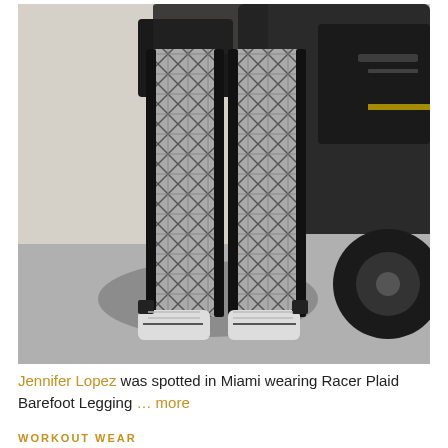[Figure (photo): A person (Jennifer Lopez) standing outside near a dark car, wearing plaid/checked athletic leggings with black side stripes, black gloves, holding a dark folder/clutch, and wearing white sneakers. Photo taken on a sunny day on pavement.]
Jennifer Lopez was spotted in Miami wearing Racer Plaid Barefoot Legging … more
WORKOUT WEAR